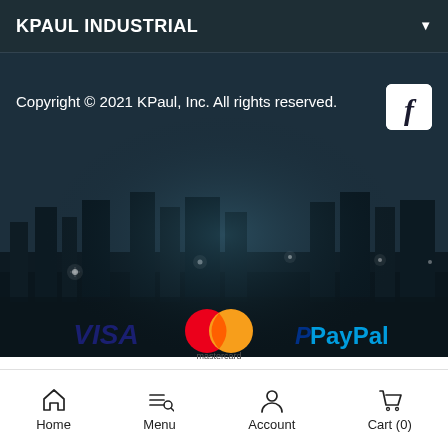KPAUL INDUSTRIAL
Copyright © 2021 KPaul, Inc. All rights reserved.
[Figure (logo): Facebook logo icon - white F on white square background]
[Figure (logo): Payment method logos: VISA, Mastercard, PayPal, Discover]
Home | Menu | Account | Cart (0)